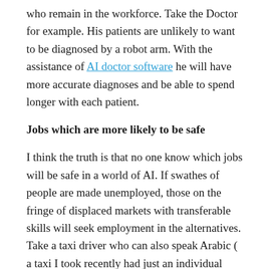who remain in the workforce. Take the Doctor for example. His patients are unlikely to want to be diagnosed by a robot arm. With the assistance of AI doctor software he will have more accurate diagnoses and be able to spend longer with each patient.
Jobs which are more likely to be safe
I think the truth is that no one know which jobs will be safe in a world of AI. If swathes of people are made unemployed, those on the fringe of displaced markets with transferable skills will seek employment in the alternatives. Take a taxi driver who can also speak Arabic ( a taxi I took recently had just an individual behind the wheel. ) His taxi driving role is displaced by autonomous cars so he applies for jobs in the labour